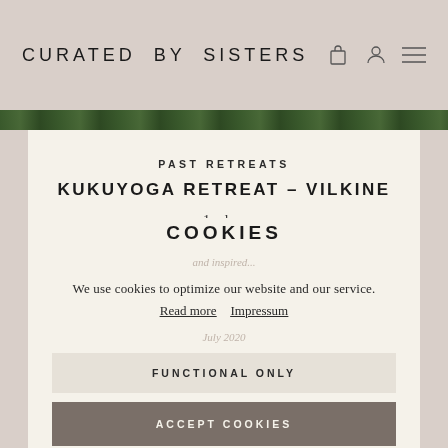CURATED BY SISTERS
[Figure (photo): Green foliage strip at top of content area]
PAST RETREATS
KUKUYOGA RETREAT – VILKINE
1 day
feel liberated, young
COOKIES
and inspired...
We use cookies to optimize our website and our service.
Read more  Impressum
July 2020
FUNCTIONAL ONLY
ACCEPT COOKIES